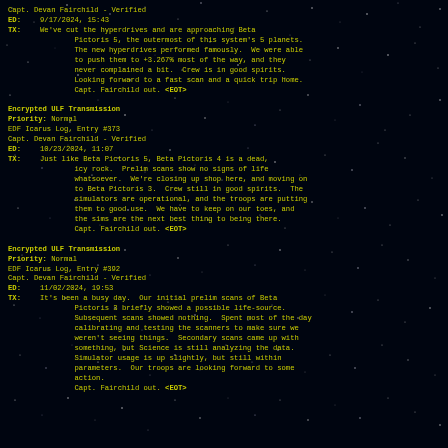Capt. Devan Fairchild - Verified
ED: 9/17/2024, 15:43
TX: We've cut the hyperdrives and are approaching Beta Pictoris 5, the outermost of this system's 5 planets. The new hyperdrives performed famously. We were able to push them to +3.267% most of the way, and they never complained a bit. Crew is in good spirits. Looking forward to a fast scan and a quick trip home. Capt. Fairchild out. <EOT>
Encrypted ULF Transmission
Priority: Normal
EDF Icarus Log, Entry #373
Capt. Devan Fairchild - Verified
ED: 10/23/2024, 11:07
TX: Just like Beta Pictoris 5, Beta Pictoris 4 is a dead, icy rock. Prelim scans show no signs of life whatsoever. We're closing up shop here, and moving on to Beta Pictoris 3. Crew still in good spirits. The simulators are operational, and the troops are putting them to good use. We have to keep on our toes, and the sims are the next best thing to being there. Capt. Fairchild out. <EOT>
Encrypted ULF Transmission
Priority: Normal
EDF Icarus Log, Entry #392
Capt. Devan Fairchild - Verified
ED: 11/02/2024, 19:53
TX: It's been a busy day. Our initial prelim scans of Beta Pictoris 3 briefly showed a possible life-source. Subsequent scans showed nothing. Spent most of the day calibrating and testing the scanners to make sure we weren't seeing things. Secondary scans came up with something, but Science is still analyzing the data. Simulator usage is up slightly, but still within parameters. Our troops are looking forward to some action. Capt. Fairchild out. <EOT>